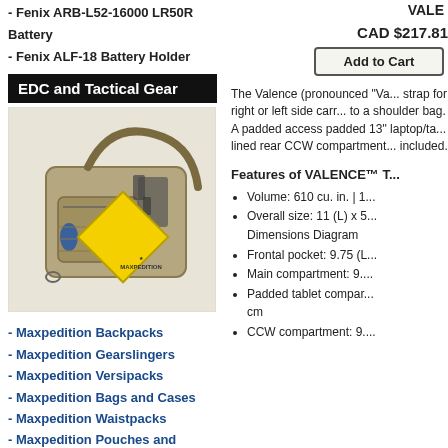- Fenix ARB-L52-16000 LR50R Battery
- Fenix ALF-18 Battery Holder
EDC and Tactical Gear
[Figure (photo): Maxpedition tan tactical shoulder bag (Valence) with a firearm visible in the main compartment, and a yellow Maxpedition diamond logo sign beside it.]
- Maxpedition Backpacks
- Maxpedition Gearslingers
- Maxpedition Versipacks
- Maxpedition Bags and Cases
- Maxpedition Waistpacks
- Maxpedition Pouches and Pockets
- Maxpedition Phone holders
- Maxpedition Sheaths
- Maxpedition Wallets
- Maxpedition Other products
VALE...
CAD $217.81
Add to Cart
The Valence (pronounced "Va...strap for right or left side carr...to a shoulder bag. A padded ...access padded 13" laptop/ta...lined rear CCW compartment...included.
Features of VALENCE™ T...
Volume: 610 cu. in. | 1...
Overall size: 11 (L) x 5...Dimensions Diagram
Frontal pocket: 9.75 (L...
Main compartment: 9....
Padded tablet compar...cm
CCW compartment: 9....